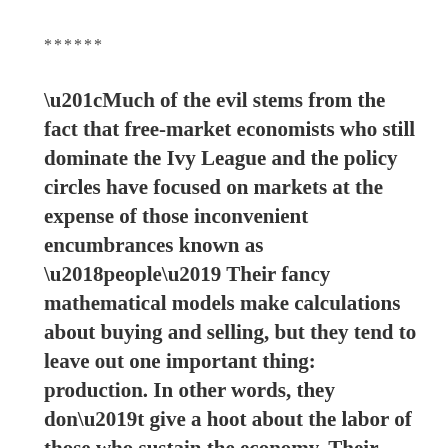******
“Much of the evil stems from the fact that free-market economists who still dominate the Ivy League and the policy circles have focused on markets at the expense of those inconvenient encumbrances known as ‘people’ Their fancy mathematical models make calculations about buying and selling, but they tend to leave out one important thing: production. In other words, they don’t give a hoot about the labor of those who sustain the economy. Their perverted religion may have something to say about unemployment or wages – keeping the former high and the latter low — but the conditions workers face receive nary a footnote.”